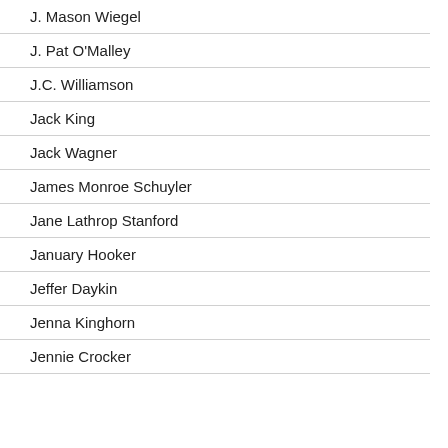J. Mason Wiegel
J. Pat O'Malley
J.C. Williamson
Jack King
Jack Wagner
James Monroe Schuyler
Jane Lathrop Stanford
January Hooker
Jeffer Daykin
Jenna Kinghorn
Jennie Crocker